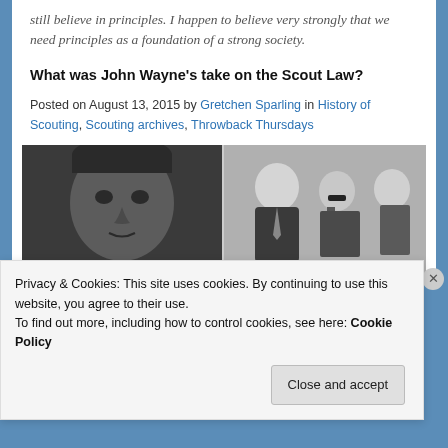still believe in principles. I happen to believe very strongly that we need principles as a foundation of a strong society.
What was John Wayne's take on the Scout Law?
Posted on August 13, 2015 by Gretchen Sparling in History of Scouting, Scouting archives, Throwback Thursdays
[Figure (photo): Two black and white photos side by side: left shows a close-up portrait of John Wayne; right shows John Wayne with two young men and another adult at an event.]
Privacy & Cookies: This site uses cookies. By continuing to use this website, you agree to their use.
To find out more, including how to control cookies, see here: Cookie Policy
Close and accept